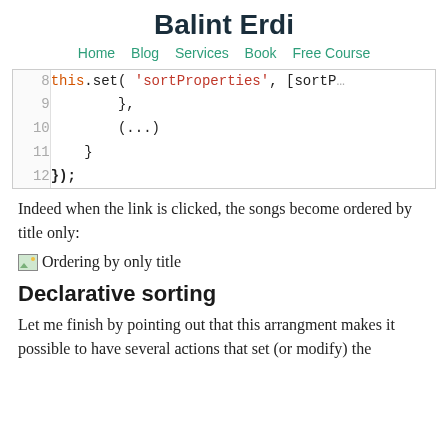Balint Erdi
Home  Blog  Services  Book  Free Course
[Figure (screenshot): Code snippet showing lines 8-12 of JavaScript code with syntax highlighting. Line 8: this.set('sortProperties', [sortP... Line 9: }, Line 10: (...) Line 11: } Line 12: });]
Indeed when the link is clicked, the songs become ordered by title only:
[Figure (photo): Broken image placeholder with alt text 'Ordering by only title']
Declarative sorting
Let me finish by pointing out that this arrangment makes it possible to have several actions that set (or modify) the